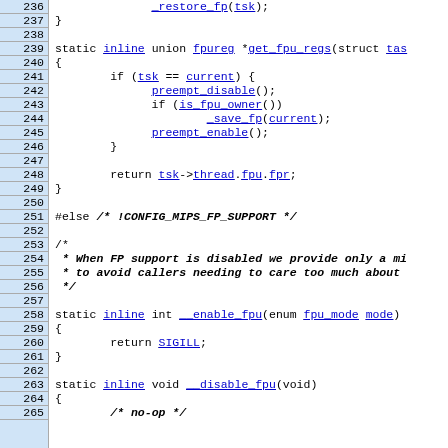[Figure (screenshot): Source code viewer showing C code lines 236-265 with line numbers on the left in a blue background column and code on the right. Contains function definitions for get_fpu_regs, __enable_fpu, and __disable_fpu, with hyperlinked identifiers in blue underline and a #else preprocessor directive with bold italic comment.]